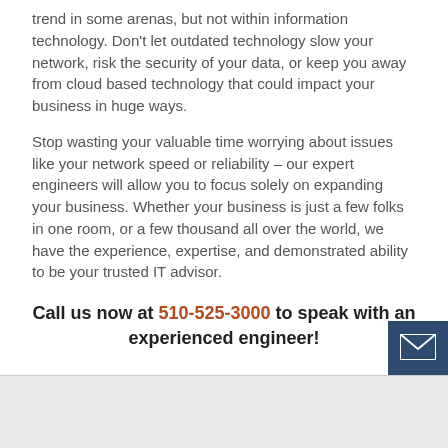trend in some arenas, but not within information technology. Don't let outdated technology slow your network, risk the security of your data, or keep you away from cloud based technology that could impact your business in huge ways.
Stop wasting your valuable time worrying about issues like your network speed or reliability – our expert engineers will allow you to focus solely on expanding your business. Whether your business is just a few folks in one room, or a few thousand all over the world, we have the experience, expertise, and demonstrated ability to be your trusted IT advisor.
Call us now at 510-525-3000 to speak with an experienced engineer!
[Figure (other): Email contact button icon in dark blue square in bottom right corner]